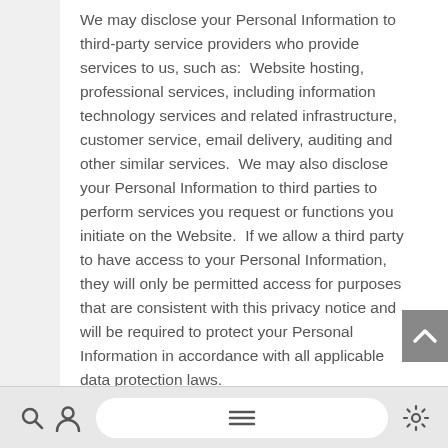We may disclose your Personal Information to third-party service providers who provide services to us, such as:  Website hosting, professional services, including information technology services and related infrastructure, customer service, email delivery, auditing and other similar services.  We may also disclose your Personal Information to third parties to perform services you request or functions you initiate on the Website.  If we allow a third party to have access to your Personal Information, they will only be permitted access for purposes that are consistent with this privacy notice and will be required to protect your Personal Information in accordance with all applicable data protection laws.